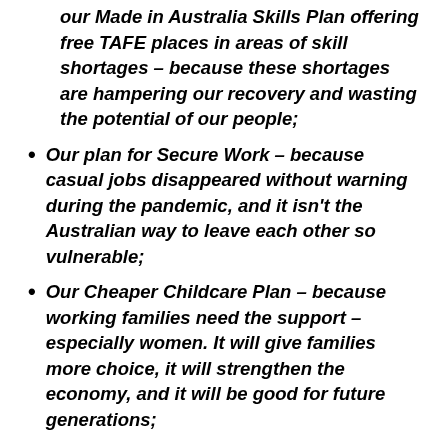our Made in Australia Skills Plan offering free TAFE places in areas of skill shortages – because these shortages are hampering our recovery and wasting the potential of our people;
Our plan for Secure Work – because casual jobs disappeared without warning during the pandemic, and it isn't the Australian way to leave each other so vulnerable;
Our Cheaper Childcare Plan – because working families need the support – especially women. It will give families more choice, it will strengthen the economy, and it will be good for future generations;